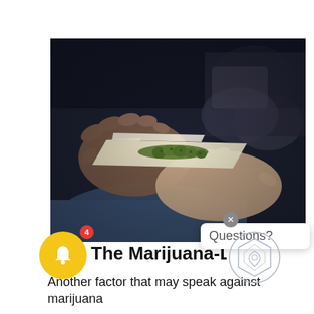[Figure (photo): Close-up photo of hands rolling a marijuana joint, dark moody background with blue-grey tones]
The Marijuana-Lifestyle Link
Another factor that may speak against marijuana